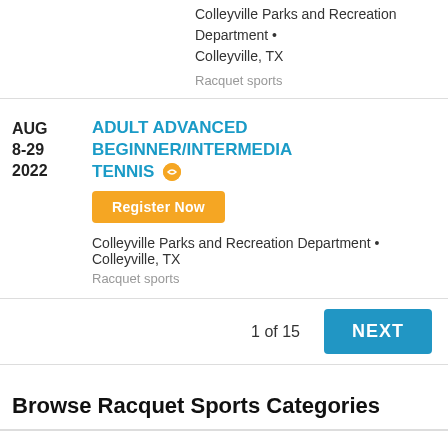Colleyville Parks and Recreation Department • Colleyville, TX
Racquet sports
AUG 8-29 2022
ADULT ADVANCED BEGINNER/INTERMEDIATE TENNIS
Register Now
Colleyville Parks and Recreation Department • Colleyville, TX
Racquet sports
1 of 15
NEXT
Browse Racquet Sports Categories